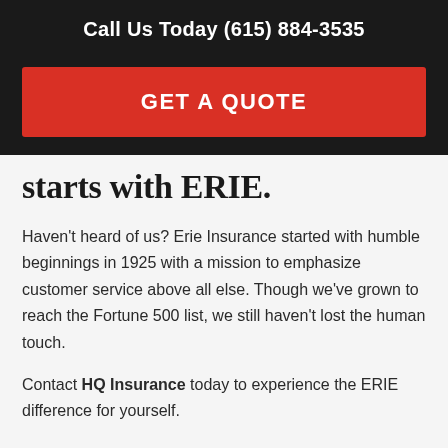Call Us Today (615) 884-3535
GET A QUOTE
starts with ERIE.
Haven't heard of us? Erie Insurance started with humble beginnings in 1925 with a mission to emphasize customer service above all else. Though we've grown to reach the Fortune 500 list, we still haven't lost the human touch.
Contact HQ Insurance today to experience the ERIE difference for yourself.